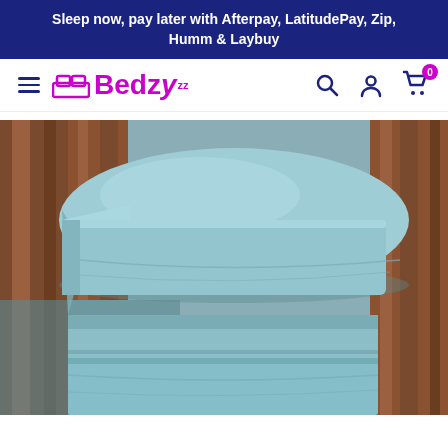Sleep now, pay later with Afterpay, LatitudePay, Zip, Humm & Laybuy
[Figure (logo): Bedzy logo with hamburger menu and navigation icons (search, account, cart with 0 badge)]
[Figure (photo): Stack of light blue/teal pillow cases and bed sheets folded neatly against a wooden headboard]